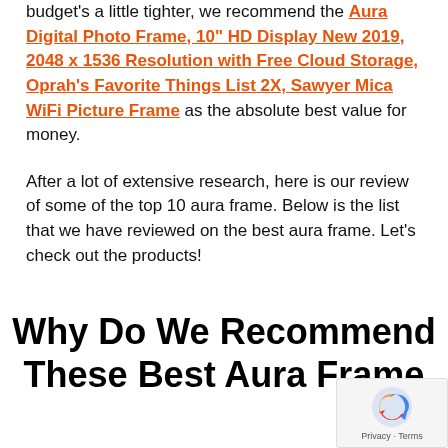budget's a little tighter, we recommend the Aura Digital Photo Frame, 10" HD Display New 2019, 2048 x 1536 Resolution with Free Cloud Storage, Oprah's Favorite Things List 2X, Sawyer Mica WiFi Picture Frame as the absolute best value for money.
After a lot of extensive research, here is our review of some of the top 10 aura frame. Below is the list that we have reviewed on the best aura frame. Let's check out the products!
Why Do We Recommend These Best Aura Frame